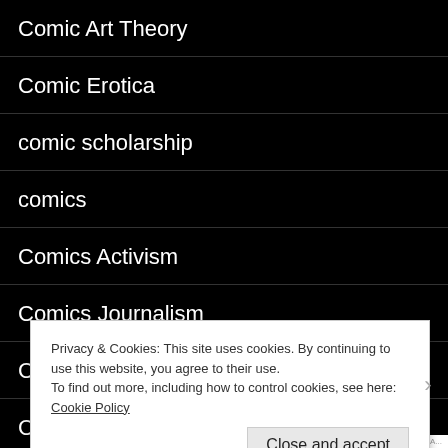Comic Art Theory
Comic Erotica
comic scholarship
comics
Comics Activism
Comics Journalism
Comics Research
Community
Crowd-funding
Privacy & Cookies: This site uses cookies. By continuing to use this website, you agree to their use.
To find out more, including how to control cookies, see here: Cookie Policy
Close and accept